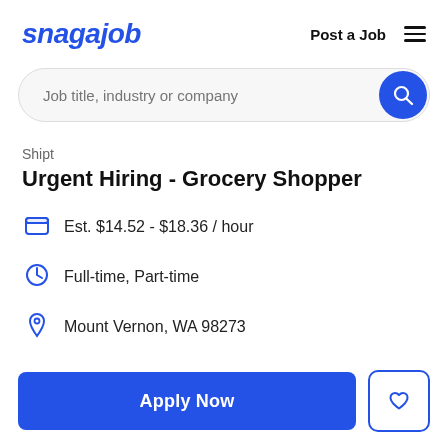snagajob   Post a Job
Job title, industry or company
Shipt
Urgent Hiring - Grocery Shopper
Est. $14.52 - $18.36 / hour
Full-time, Part-time
Mount Vernon, WA 98273
Apply Now